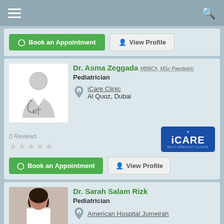Navigation bar with menu and search icons
Book an Appointment | View Profile (partial card top)
Dr. Asma Zeggada MBBCh, MSc Paediatric
Pediatrician
iCare Clinic
Al Quoz, Dubai
[Figure (logo): iCARE Multi Specialty Clinics logo - blue background with white text]
0 Reviews
★★★★★ (empty stars)
Book an Appointment | View Profile
Dr. Sarah Salam Rizk
Pediatrician
American Hospital Jumeirah